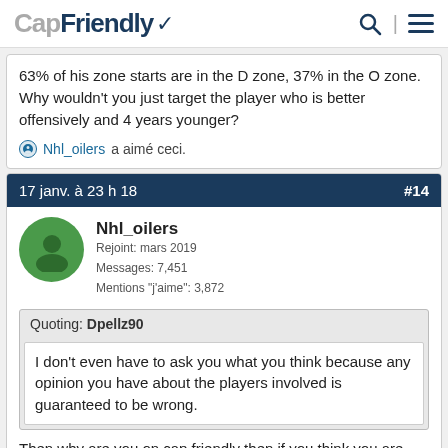CapFriendly
63% of his zone starts are in the D zone, 37% in the O zone. Why wouldn't you just target the player who is better offensively and 4 years younger?
Nhl_oilers a aimé ceci.
17 janv. à 23 h 18 #14
Nhl_oilers
Rejoint: mars 2019
Messages: 7,451
Mentions "j'aime": 3,872
Quoting: Dpellz90
I don't even have to ask you what you think because any opinion you have about the players involved is guaranteed to be wrong.
Then why are you on cap friendly then if you think you are right, and everyone else is wrong? A site for sharing and discussion.
17 janv. à 23 h 19 #15